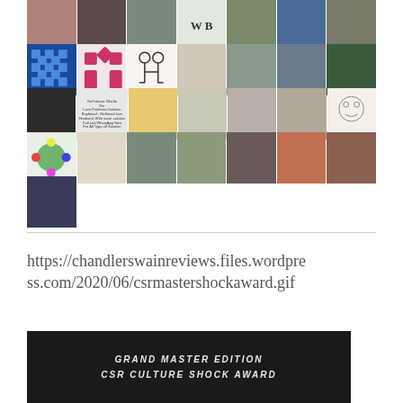[Figure (photo): Grid collage of profile photos and avatar images arranged in 5 rows and 7 columns, including portraits, cartoon avatars, and miscellaneous images.]
https://chandlerswainreviews.files.wordpress.com/2020/06/csrmastershockaward.gif
[Figure (photo): Dark image with text reading GRAND MASTER EDITION and CSR CULTURE SHOCK AWARD in white italic bold letters, showing a close-up of eyes in the background.]